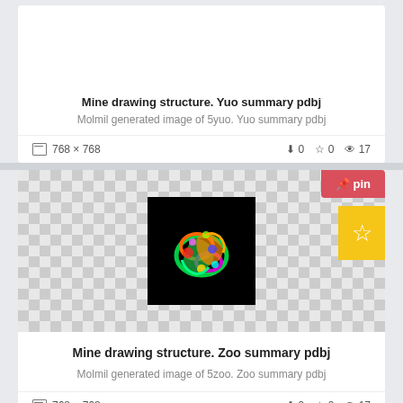Mine drawing structure. Yuo summary pdbj
Molmil generated image of 5yuo. Yuo summary pdbj
768 × 768  ↓0  ☆0  👁 17
[Figure (photo): Protein structure 3D rendering (5zoo) on black background, colorful ribbon diagram, shown against checkerboard transparency pattern. Has red pin button and yellow star button overlaid.]
Mine drawing structure. Zoo summary pdbj
Molmil generated image of 5zoo. Zoo summary pdbj
768 × 768  ↓0  ☆0  👁 17